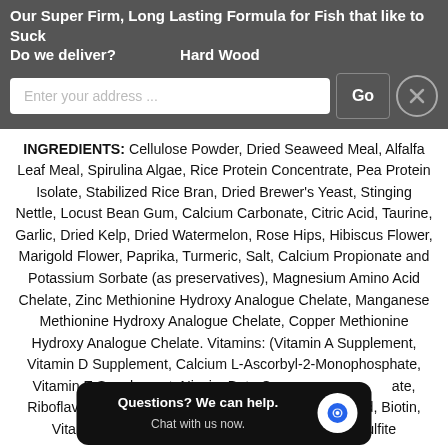Our Super Firm, Long Lasting Formula for Fish that like to Suck Hard Wood
Do we deliver?
Enter your address ...
INGREDIENTS: Cellulose Powder, Dried Seaweed Meal, Alfalfa Leaf Meal, Spirulina Algae, Rice Protein Concentrate, Pea Protein Isolate, Stabilized Rice Bran, Dried Brewer's Yeast, Stinging Nettle, Locust Bean Gum, Calcium Carbonate, Citric Acid, Taurine, Garlic, Dried Kelp, Dried Watermelon, Rose Hips, Hibiscus Flower, Marigold Flower, Paprika, Turmeric, Salt, Calcium Propionate and Potassium Sorbate (as preservatives), Magnesium Amino Acid Chelate, Zinc Methionine Hydroxy Analogue Chelate, Manganese Methionine Hydroxy Analogue Chelate, Copper Methionine Hydroxy Analogue Chelate. Vitamins: (Vitamin A Supplement, Vitamin D Supplement, Calcium L-Ascorbyl-2-Monophosphate, Vitamin E Supplement, Niacin, Beta Carotene, Pantothenate, Riboflavin, Pyridoxine Hydrochloride, Citrate, Folic Acid, Biotin, Vitamin B-12 Supplement, Menadione Sodium Bisulfite
Questions? We can help. Chat with us now.